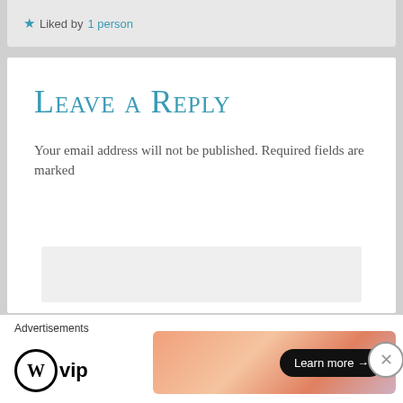Liked by 1 person
Leave a Reply
Your email address will not be published. Required fields are marked
[Figure (other): Empty grey text area input box for comment reply]
Advertisements
[Figure (logo): WordPress VIP logo with circle W and VIP text]
[Figure (other): Advertisement banner with gradient orange/pink background and 'Learn more →' button]